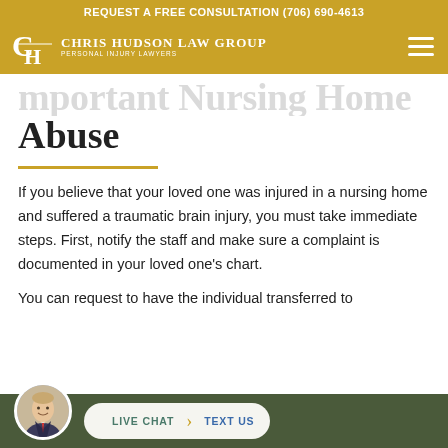REQUEST A FREE CONSULTATION (706) 690-4613
[Figure (logo): Chris Hudson Law Group logo with CH monogram and 'Personal Injury Lawyers' tagline on gold background with hamburger menu icon]
Abuse
If you believe that your loved one was injured in a nursing home and suffered a traumatic brain injury, you must take immediate steps. First, notify the staff and make sure a complaint is documented in your loved one's chart.
You can request to have the individual transferred to